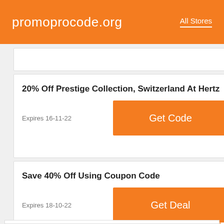promoprocode.org   All Stores
20% Off Prestige Collection, Switzerland At Hertz
Expires 16-11-22
Get Code
Save 40% Off Using Coupon Code
Expires 18-10-22
Get Deal
AAA Members: Up To $40 Off Base Rate On Monthly Rental